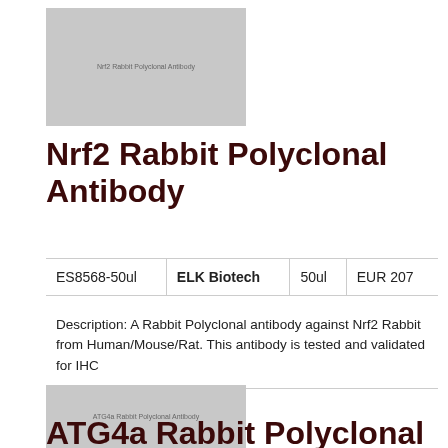[Figure (photo): Product image placeholder for Nrf2 Rabbit Polyclonal Antibody, grey rectangle with text label]
Nrf2 Rabbit Polyclonal Antibody
| ES8568-50ul | ELK Biotech | 50ul | EUR 207 |
| --- | --- | --- | --- |
Description: A Rabbit Polyclonal antibody against Nrf2 Rabbit from Human/Mouse/Rat. This antibody is tested and validated for IHC
[Figure (photo): Product image placeholder for ATG4a Rabbit Polyclonal Antibody, grey rectangle with text label]
ATG4a Rabbit Polyclonal